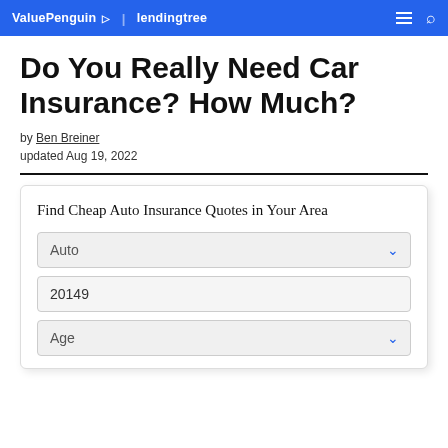ValuePenguin | lendingtree
Do You Really Need Car Insurance? How Much?
by Ben Breiner
updated Aug 19, 2022
Find Cheap Auto Insurance Quotes in Your Area
Auto (dropdown)
20149 (zip input)
Age (dropdown)